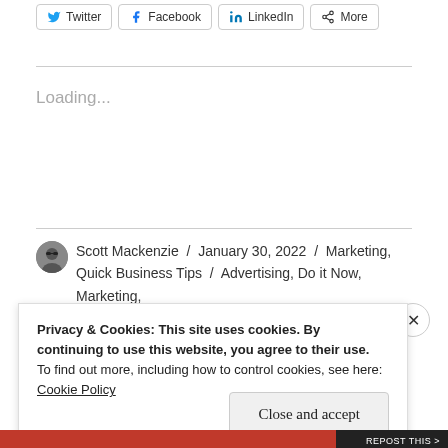[Figure (other): Social share buttons: Twitter, Facebook, LinkedIn, More]
Loading...
Scott Mackenzie / January 30, 2022 / Marketing, Quick Business Tips / Advertising, Do it Now, Marketing,
Privacy & Cookies: This site uses cookies. By continuing to use this website, you agree to their use.
To find out more, including how to control cookies, see here: Cookie Policy
Close and accept